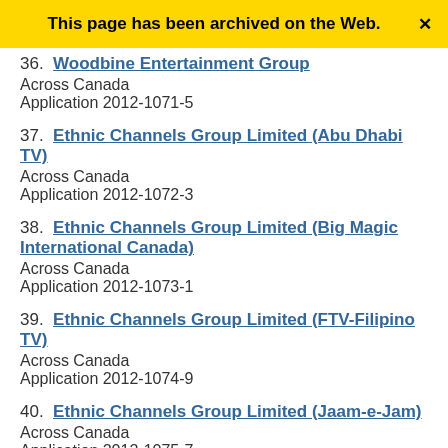This page has been archived on the Web.
36. Woodbine Entertainment Group
Across Canada
Application 2012-1071-5
37. Ethnic Channels Group Limited (Abu Dhabi TV)
Across Canada
Application 2012-1072-3
38. Ethnic Channels Group Limited (Big Magic International Canada)
Across Canada
Application 2012-1073-1
39. Ethnic Channels Group Limited (FTV-Filipino TV)
Across Canada
Application 2012-1074-9
40. Ethnic Channels Group Limited (Jaam-e-Jam)
Across Canada
Application 2012-1075-7